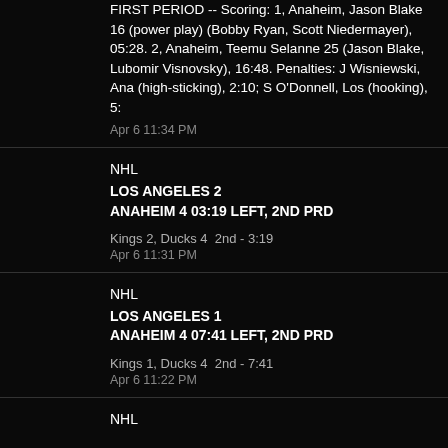FIRST PERIOD -- Scoring: 1, Anaheim, Jason Blake 16 (power play) (Bobby Ryan, Scott Niedermayer), 05:28. 2, Anaheim, Teemu Selanne 25 (Jason Blake, Lubomir Visnovsky), 16:48. Penalties: J Wisniewski, Ana (high-sticking), 2:10; S O'Donnell, Los (hooking), 5:
Apr 6 11:34 PM
NHL
LOS ANGELES 2
ANAHEIM 4 03:19 LEFT, 2ND PRD
Kings 2, Ducks 4  2nd - 3:19
Apr 6 11:31 PM
NHL
LOS ANGELES 1
ANAHEIM 4 07:41 LEFT, 2ND PRD
Kings 1, Ducks 4  2nd - 7:41
Apr 6 11:22 PM
NHL